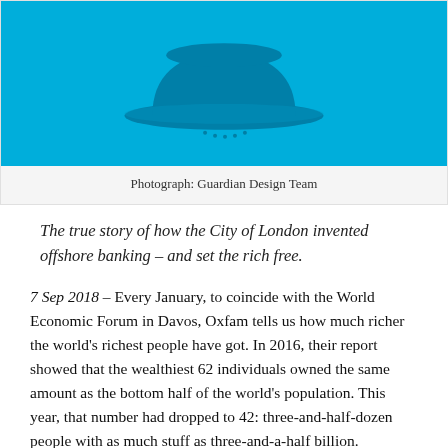[Figure (illustration): Illustration on a cyan/sky-blue background showing a bowler hat silhouette in darker blue, with small decorative dots below it. Guardian Design Team illustration.]
Photograph: Guardian Design Team
The true story of how the City of London invented offshore banking – and set the rich free.
7 Sep 2018 – Every January, to coincide with the World Economic Forum in Davos, Oxfam tells us how much richer the world's richest people have got. In 2016, their report showed that the wealthiest 62 individuals owned the same amount as the bottom half of the world's population. This year, that number had dropped to 42: three-and-half-dozen people with as much stuff as three-and-a-half billion.
This yearly ritual has become part of the news cycle, and the